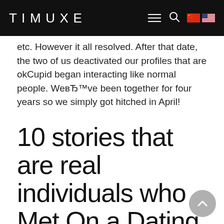TIMUXE
etc. However it all resolved. After that date, the two of us deactivated our profiles that are okCupid began interacting like normal people. WeвЂ™ve been together for four years so we simply got hitched in April!
10 stories that are real individuals who Met On a Dating App: Lynn & Alex